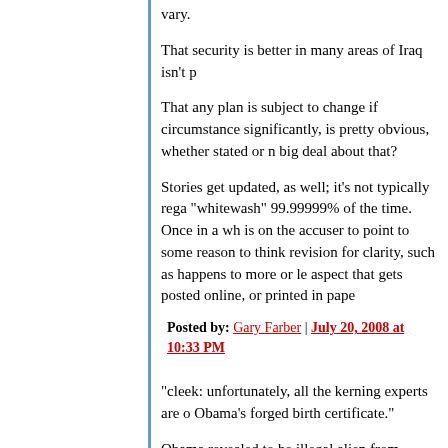vary.
That security is better in many areas of Iraq isn't p
That any plan is subject to change if circumstance significantly, is pretty obvious, whether stated or n big deal about that?
Stories get updated, as well; it's not typically rega "whitewash" 99.99999% of the time. Once in a wh is on the accuser to point to some reason to think revision for clarity, such as happens to more or le aspect that gets posted online, or printed in pape
Posted by: Gary Farber | July 20, 2008 at 10:33 PM
"cleek: unfortunately, all the kerning experts are o Obama's forged birth certificate."
Obama revealed to be illegal alien from Planet Te
Posted by: Gary Hussein Farber | July 20, 2008 at 10:36 PM
Nb: I have a post about this coming up, since the interview, and translated the relevant bit for it...